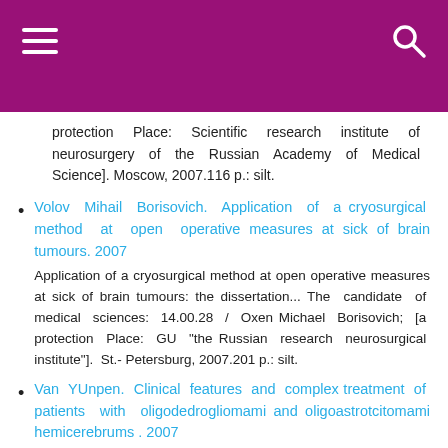protection Place: Scientific research institute of neurosurgery of the Russian Academy of Medical Science]. Moscow, 2007.116 p.: silt.
Volov Mihail Borisovich. Application of a cryosurgical method at open operative measures at sick of brain tumours. 2007
Application of a cryosurgical method at open operative measures at sick of brain tumours: the dissertation... The candidate of medical sciences: 14.00.28 / Oxen Michael Borisovich; [a protection Place: GU "the Russian research neurosurgical institute"]. St.-Petersburg, 2007.201 p.: silt.
Van YUnpen. Clinical features and complex treatment of patients with oligodedrogliomami and oligoastrotcitomami hemicerebrums . 2007